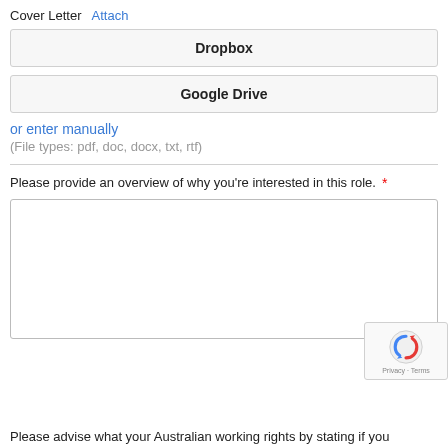Cover Letter   Attach
Dropbox
Google Drive
or enter manually
(File types: pdf, doc, docx, txt, rtf)
Please provide an overview of why you're interested in this role. *
Please advise what your Australian working rights by stating if you